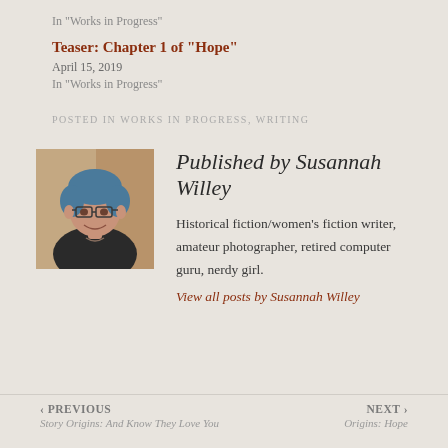In "Works in Progress"
Teaser: Chapter 1 of “Hope”
April 15, 2019
In "Works in Progress"
POSTED IN WORKS IN PROGRESS, WRITING
[Figure (photo): Portrait photo of Susannah Willey, a woman with short blue hair and glasses, smiling]
Published by Susannah Willey
Historical fiction/women’s fiction writer, amateur photographer, retired computer guru, nerdy girl.
View all posts by Susannah Willey
‹ PREVIOUS | Story Origins: And Know They Love You | NEXT › | Origins: Hope